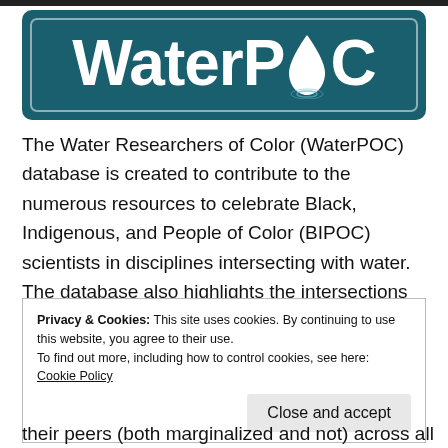[Figure (logo): WaterPOC logo — teal/dark-cyan rounded rectangle with white bold text 'WaterPOC' where the 'O' is replaced by a water droplet icon with ripple circles beneath it]
The Water Researchers of Color (WaterPOC) database is created to contribute to the numerous resources to celebrate Black, Indigenous, and People of Color (BIPOC) scientists in disciplines intersecting with water. The database also highlights the intersections of identities within water researchers, including race, ethnicity, gender, sexual orientation, and career stage.
Privacy & Cookies: This site uses cookies. By continuing to use this website, you agree to their use.
To find out more, including how to control cookies, see here: Cookie Policy
[Close and accept]
their peers (both marginalized and not) across all